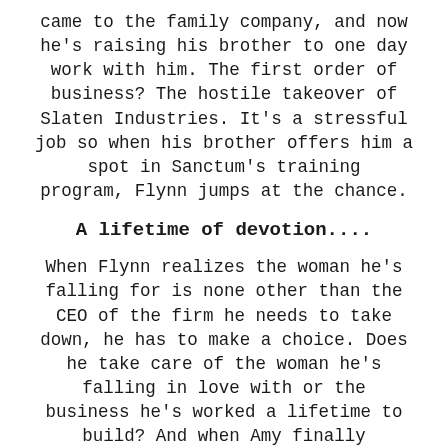came to the family company, and now he's raising his brother to one day work with him. The first order of business? The hostile takeover of Slaten Industries. It's a stressful job so when his brother offers him a spot in Sanctum's training program, Flynn jumps at the chance.
A lifetime of devotion....
When Flynn realizes the woman he's falling for is none other than the CEO of the firm he needs to take down, he has to make a choice. Does he take care of the woman he's falling in love with or the business he's worked a lifetime to build? And when Amy finally understands the man she's come to trust is none other than the enemy